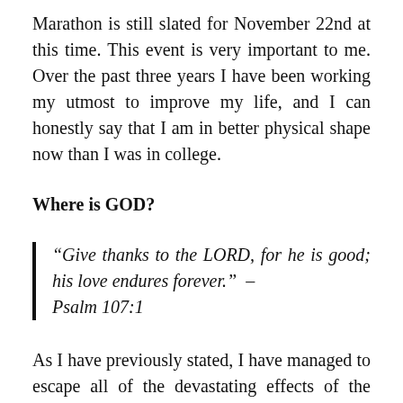Marathon is still slated for November 22nd at this time. This event is very important to me. Over the past three years I have been working my utmost to improve my life, and I can honestly say that I am in better physical shape now than I was in college.
Where is GOD?
“Give thanks to the LORD, for he is good; his love endures forever.” – Psalm 107:1
As I have previously stated, I have managed to escape all of the devastating effects of the coronavirus, physical, social, and financial. No